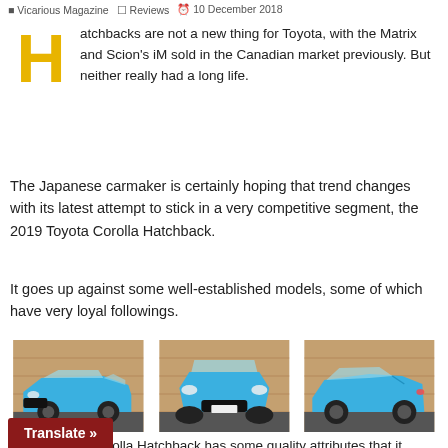Vicarious Magazine  Reviews  10 December 2018
Hatchbacks are not a new thing for Toyota, with the Matrix and Scion's iM sold in the Canadian market previously. But neither really had a long life.
The Japanese carmaker is certainly hoping that trend changes with its latest attempt to stick in a very competitive segment, the 2019 Toyota Corolla Hatchback.
It goes up against some well-established models, some of which have very loyal followings.
[Figure (photo): Three photos of a blue 2019 Toyota Corolla Hatchback from different angles: three-quarter front, front, and side profile, all parked in front of a brick wall.]
However, the Corolla Hatchback has some quality attributes that it... ing, lots of equipment (standard and otherwise)